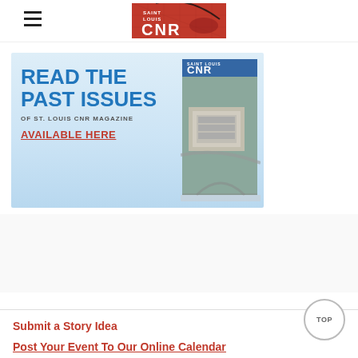CNR (St. Louis CNR Magazine logo/header)
[Figure (infographic): Advertisement banner: READ THE PAST ISSUES OF ST. LOUIS CNR MAGAZINE AVAILABLE HERE, with a magazine cover mockup on the right showing an aerial photo of a building complex]
Submit a Story Idea
Post Your Event To Our Online Calendar